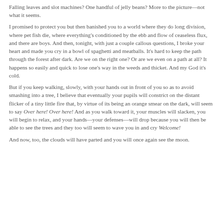Falling leaves and slot machines? One handful of jelly beans? More to the picture—not what it seems.
I promised to protect you but then banished you to a world where they do long division, where pet fish die, where everything's conditioned by the ebb and flow of ceaseless flux, and there are boys. And then, tonight, with just a couple callous questions, I broke your heart and made you cry in a bowl of spaghetti and meatballs. It's hard to keep the path through the forest after dark. Are we on the right one? Or are we even on a path at all? It happens so easily and quick to lose one's way in the weeds and thicket. And my God it's cold.
But if you keep walking, slowly, with your hands out in front of you so as to avoid smashing into a tree, I believe that eventually your pupils will constrict on the distant flicker of a tiny little fire that, by virtue of its being an orange smear on the dark, will seem to say Over here! Over here! And as you walk toward it, your muscles will slacken, you will begin to relax, and your hands—your defenses—will drop because you will then be able to see the trees and they too will seem to wave you in and cry Welcome!
And now, too, the clouds will have parted and you will once again see the moon.